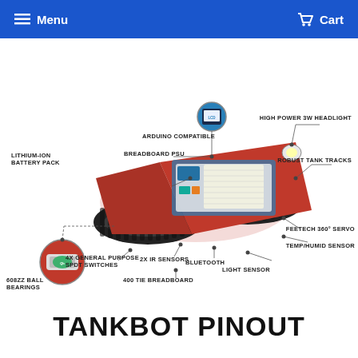Menu  Cart
[Figure (engineering-diagram): Annotated diagram of a TankBot robot with labeled components: High Power 3W Headlight, Robust Tank Tracks, Lithium-Ion Battery Pack, Arduino Compatible, Breadboard PSU, 608ZZ Ball Bearings, FEETech 360° Servo, Temp/Humid Sensor, Light Sensor, Bluetooth, 2x IR Sensors, 4x General Purpose SPDT Switches, 400 Tie Breadboard]
TANKBOT PINOUT